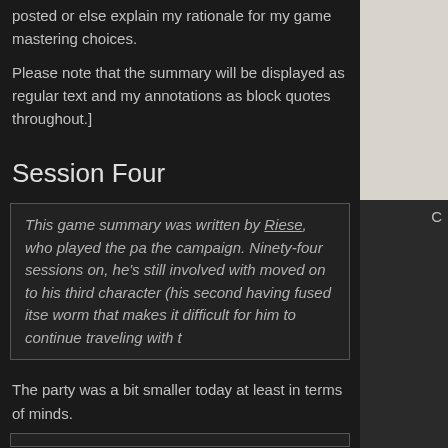posted or else explain my rationale for my game mastering choices.
Please note that the summary will be displayed as regular text and my annotations as block quotes throughout.]
Session Four
This game summary was written by Riese, who played the pa the campaign. Ninety-four sessions on, he's still involved with moved on to his third character (his second having fused itse worm that makes it difficult for him to continue traveling with t
The party was a bit smaller today at least in terms of minds.